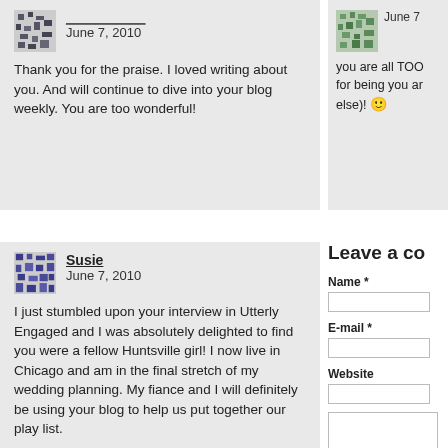June 7, 2010

Thank you for the praise. I loved writing about you. And will continue to dive into your blog weekly. You are too wonderful!
June 7

you are all TOO for being you ar else)! 🙂
Susie
June 7, 2010

I just stumbled upon your interview in Utterly Engaged and I was absolutely delighted to find you were a fellow Huntsville girl! I now live in Chicago and am in the final stretch of my wedding planning. My fiance and I will definitely be using your blog to help us put together our play list.

p.s. Great job on putting together a cool record shop in Huntsville. I visited over Christmas and
Leave a co
Name *
E-mail *
Website